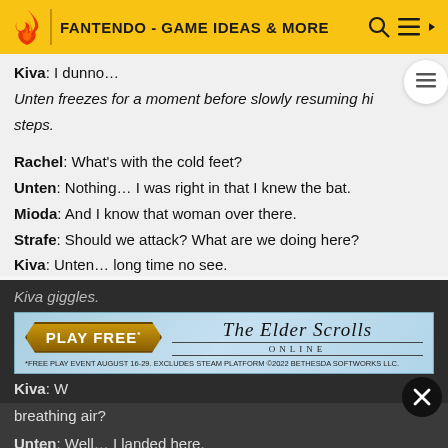FANTENDO - GAME IDEAS & MORE
Kiva: I dunno…
Unten freezes for a moment before slowly resuming his steps.
Rachel: What's with the cold feet?
Unten: Nothing… I was right in that I knew the bat.
Mioda: And I know that woman over there.
Strafe: Should we attack? What are we doing here?
Kiva: Unten… long time no see.
Kiva giggles.
[Figure (screenshot): The Elder Scrolls Online advertisement banner with 'PLAY FREE' badge and fine print about free play event August 16-29, excluding Steam platform, copyright 2022 Bethesda Softworks LLC]
Kiva: W... awful breathing air?
Unten: Well… I landed here.
Tagita: And we do need clean air and Mioda… stay…